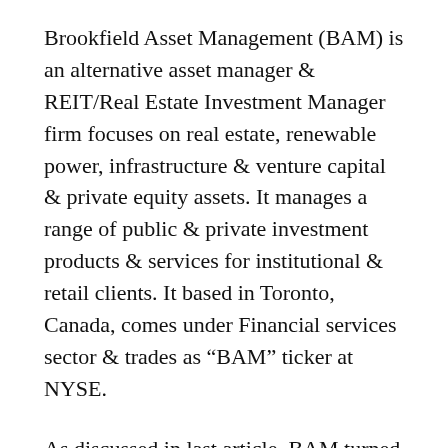Brookfield Asset Management (BAM) is an alternative asset manager & REIT/Real Estate Investment Manager firm focuses on real estate, renewable power, infrastructure & venture capital & private equity assets. It manages a range of public & private investment products & services for institutional & retail clients. It based in Toronto, Canada, comes under Financial services sector & trades as “BAM” ticker at NYSE.
As discussed in last article, BAM turned lower in ((C)) of II after ending ((B)) at $59.16 high. Currently, it favors further weakness in (5) of ((C)) towards $46.62– $38.87 area to finish II correction before next rally resumes.